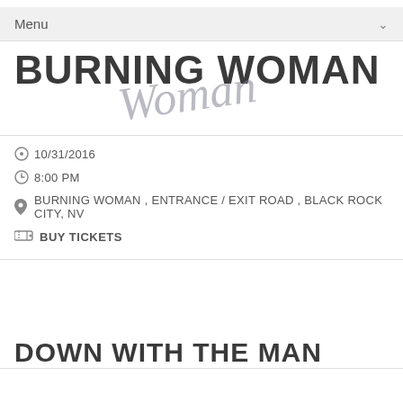Menu
BURNING WOMAN
10/31/2016
8:00 PM
BURNING WOMAN , ENTRANCE / EXIT ROAD , BLACK ROCK CITY, NV
BUY TICKETS
DOWN WITH THE MAN